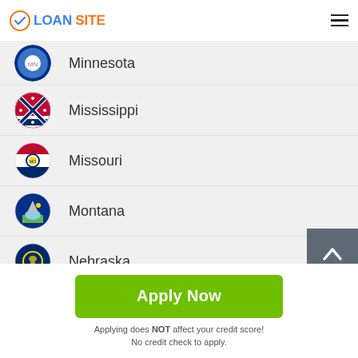LOANSITE
Minnesota
Mississippi
Missouri
Montana
Nebraska
Nevada
Apply Now
Applying does NOT affect your credit score!
No credit check to apply.